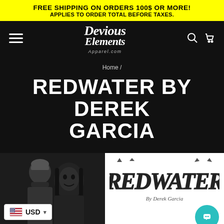FREE SHIPPING ON ORDERS 100$ OR MORE! APPLIES TO ORDER TOTAL BEFORE TAXES.
[Figure (logo): Devious Elements Apparel.com logo in stylized script font on black background with hamburger menu and cart/search icons]
Home /
REDWATER BY DEREK GARCIA
[Figure (photo): Two horror figures/characters, one wearing a beanie and another with long dark hair and menacing look, against dark background]
[Figure (logo): Redwater by Derek Garcia horror-style logo in grungy metal lettering with 'By Derek Garcia' subtitle]